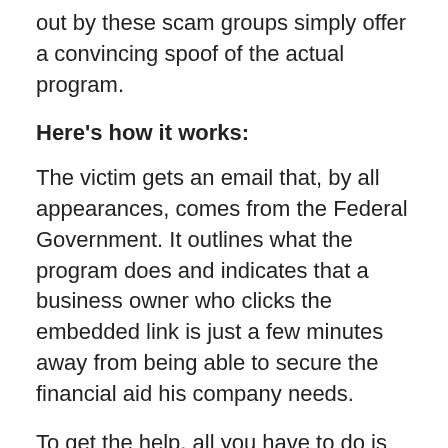out by these scam groups simply offer a convincing spoof of the actual program.
Here's how it works:
The victim gets an email that, by all appearances, comes from the Federal Government. It outlines what the program does and indicates that a business owner who clicks the embedded link is just a few minutes away from being able to secure the financial aid his company needs.
To get the help, all you have to do is follow the link, enter your online banking login credentials, and let the government wire you some badly needed funds. Except of course, no funds are ever forthcoming. All the scammers wanted was a way into your online accounts so they could drain them dry.
In fact, if you enter your login credentials, you'll get an error message stating that there was a problem and that you must have entered your user name and